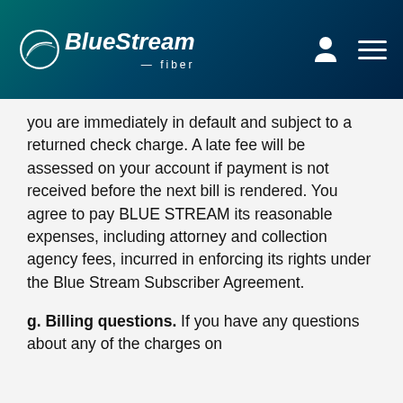Blue Stream fiber
you are immediately in default and subject to a returned check charge. A late fee will be assessed on your account if payment is not received before the next bill is rendered. You agree to pay BLUE STREAM its reasonable expenses, including attorney and collection agency fees, incurred in enforcing its rights under the Blue Stream Subscriber Agreement.
g. Billing questions. If you have any questions about any of the charges on